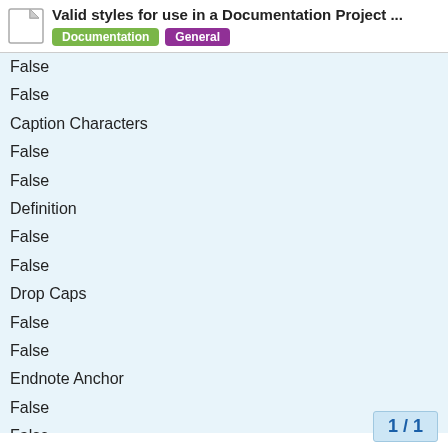Valid styles for use in a Documentation Project ... | Documentation | General
False
False
Caption Characters
False
False
Definition
False
False
Drop Caps
False
False
Endnote Anchor
False
False
Endnote Characters
False
False
Example
False
1 / 1